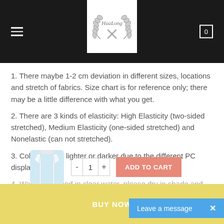HuaLong [logo with laurel wreath]
1. There maybe 1-2 cm deviation in different sizes, locations and stretch of fabrics. Size chart is for reference only; there may be a little difference with what you get.
2. There are 3 kinds of elasticity: High Elasticity (two-sided stretched), Medium Elasticity (one-sided stretched) and Nonelastic (can not stretched).
3. Color may be lighter or darker due to the different PC display.
4. Wash it by hand in clear water, please dry in shade and not dry cleaning.